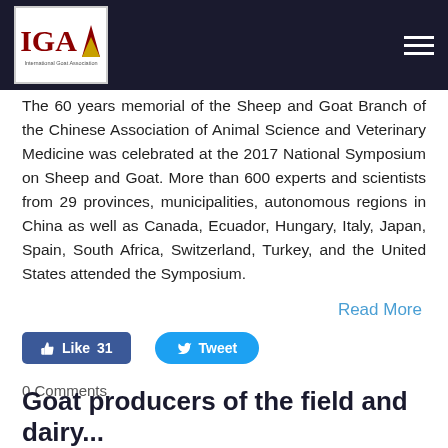IGA — International Goat Association (navigation bar with logo and hamburger menu)
The 60 years memorial of the Sheep and Goat Branch of the Chinese Association of Animal Science and Veterinary Medicine was celebrated at the 2017 National Symposium on Sheep and Goat. More than 600 experts and scientists from 29 provinces, municipalities, autonomous regions in China as well as Canada, Ecuador, Hungary, Italy, Japan, Spain, South Africa, Switzerland, Turkey, and the United States attended the Symposium.
Read More
Like 31   Tweet
0 Comments
Goat producers of the field and dairy...